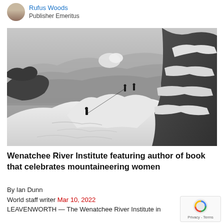Rufus Woods
Publisher Emeritus
[Figure (photo): Black and white photograph of mountaineers climbing a steep snow-covered ridge with dramatic mountain ranges and clouds visible in the background]
Wenatchee River Institute featuring author of book that celebrates mountaineering women
By Ian Dunn
World staff writer Mar 10, 2022
LEAVENWORTH — The Wenatchee River Institute in